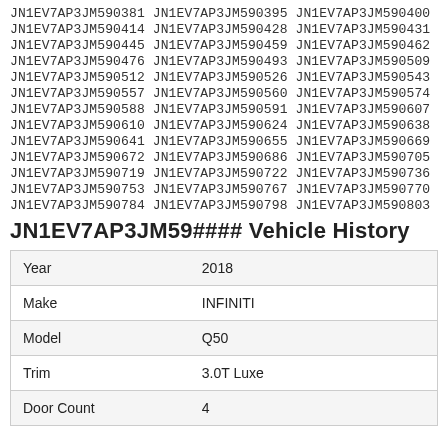JN1EV7AP3JM590381 JN1EV7AP3JM590395 JN1EV7AP3JM590400
JN1EV7AP3JM590414 JN1EV7AP3JM590428 JN1EV7AP3JM590431
JN1EV7AP3JM590445 JN1EV7AP3JM590459 JN1EV7AP3JM590462
JN1EV7AP3JM590476 JN1EV7AP3JM590493 JN1EV7AP3JM590509
JN1EV7AP3JM590512 JN1EV7AP3JM590526 JN1EV7AP3JM590543
JN1EV7AP3JM590557 JN1EV7AP3JM590560 JN1EV7AP3JM590574
JN1EV7AP3JM590588 JN1EV7AP3JM590591 JN1EV7AP3JM590607
JN1EV7AP3JM590610 JN1EV7AP3JM590624 JN1EV7AP3JM590638
JN1EV7AP3JM590641 JN1EV7AP3JM590655 JN1EV7AP3JM590669
JN1EV7AP3JM590672 JN1EV7AP3JM590686 JN1EV7AP3JM590705
JN1EV7AP3JM590719 JN1EV7AP3JM590722 JN1EV7AP3JM590736
JN1EV7AP3JM590753 JN1EV7AP3JM590767 JN1EV7AP3JM590770
JN1EV7AP3JM590784 JN1EV7AP3JM590798 JN1EV7AP3JM590803
JN1EV7AP3JM59#### Vehicle History
|  |  |
| --- | --- |
| Year | 2018 |
| Make | INFINITI |
| Model | Q50 |
| Trim | 3.0T Luxe |
| Door Count | 4 |